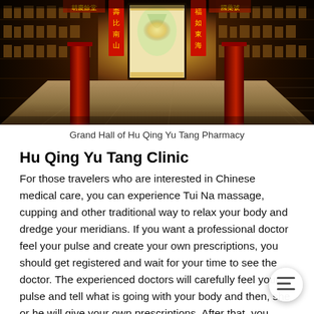[Figure (photo): Interior of Hu Qing Yu Tang Pharmacy Grand Hall — a traditional Chinese pharmacy hall with ornate wooden shelving filled with medicinal products, hanging red banners with Chinese calligraphy, illuminated central altar/display with a painting, stone-paved floor extending toward the entrance, and red pillars flanking the hall.]
Grand Hall of Hu Qing Yu Tang Pharmacy
Hu Qing Yu Tang Clinic
For those travelers who are interested in Chinese medical care, you can experience Tui Na massage, cupping and other traditional way to relax your body and dredge your meridians. If you want a professional doctor feel your pulse and create your own prescriptions, you should get registered and wait for your time to see the doctor. The experienced doctors will carefully feel your pulse and tell what is going with your body and then, she or he will give your own prescriptions. After that, you should pay for the medicine and wait to get your materials (in half an hour). If you have any trouble of your body, it will amazing experience taken care by the professional Chinese